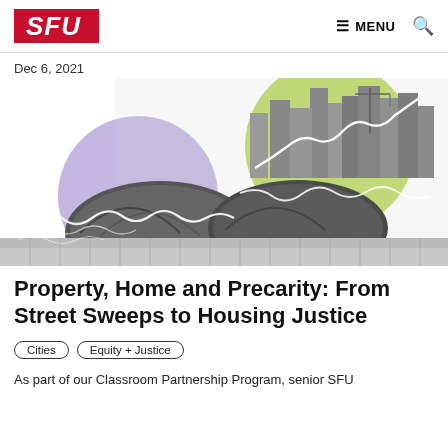SFU  ≡ MENU 🔍
Dec 6, 2021
[Figure (illustration): Composite illustration showing a grayscale photo of tent shelters in the foreground and city skyscrapers in the background, overlaid with purple and green graphic circles and white wavy/zigzag lines suggesting financial charts.]
Property, Home and Precarity: From Street Sweeps to Housing Justice
Cities   Equity + Justice
As part of our Classroom Partnership Program, senior SFU